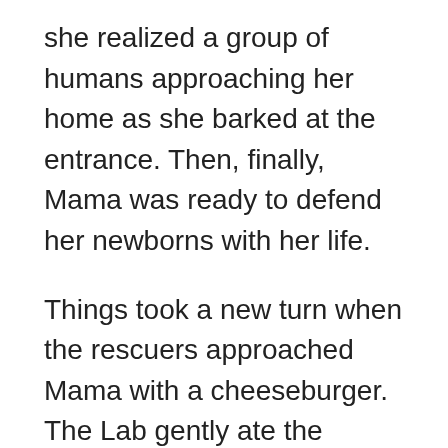she realized a group of humans approaching her home as she barked at the entrance. Then, finally, Mama was ready to defend her newborns with her life.
Things took a new turn when the rescuers approached Mama with a cheeseburger. The Lab gently ate the cheeseburger as she bonded with the rescuers. Then, however, Mama fell victim to the rescuers' trap when she went for another portion of a cheeseburger.
The rescuers took advantage of the Lab's sense of calmness and trust to pick Mama's seven puppies as they placed them in a safe cage. The rescuers were kind enough to soothe Mama as they assured